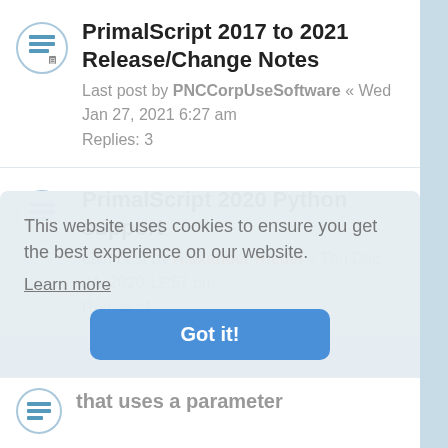PrimalScript 2017 to 2021 Release/Change Notes — Last post by PNCCorpUseSoftware « Wed Jan 27, 2021 6:27 am — Replies: 3
PrimalScript 2020 Python support — Last post by Alexander Riedel « Thu Dec 24, 2020 12:57 pm — Replies: 1
This website uses cookies to ensure you get the best experience on our website.
Learn more
Got it!
that uses a parameter